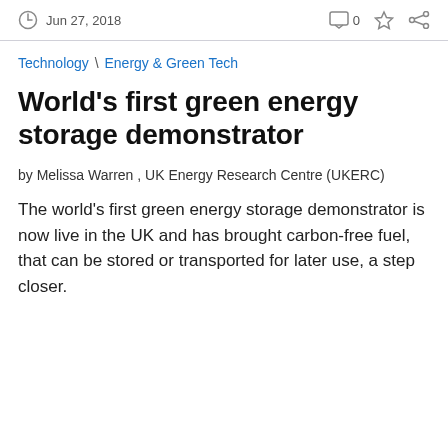Jun 27, 2018
Technology \ Energy & Green Tech
World's first green energy storage demonstrator
by Melissa Warren , UK Energy Research Centre (UKERC)
The world's first green energy storage demonstrator is now live in the UK and has brought carbon-free fuel, that can be stored or transported for later use, a step closer.